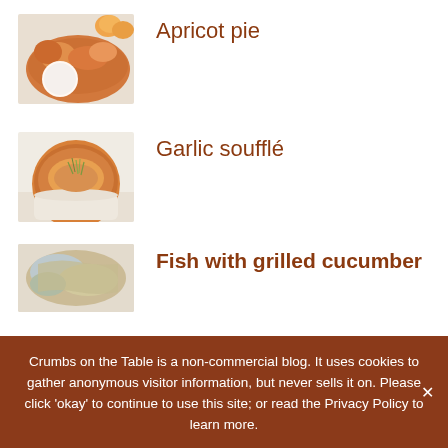[Figure (photo): Photo of apricot pie with cream on a plate, apricots in background]
Apricot pie
[Figure (photo): Photo of garlic soufflé in a white ramekin with herbs on top]
Garlic soufflé
[Figure (photo): Photo of fish with grilled cucumber dish]
Fish with grilled cucumber
Crumbs on the Table is a non-commercial blog. It uses cookies to gather anonymous visitor information, but never sells it on. Please click 'okay' to continue to use this site; or read the Privacy Policy to learn more.